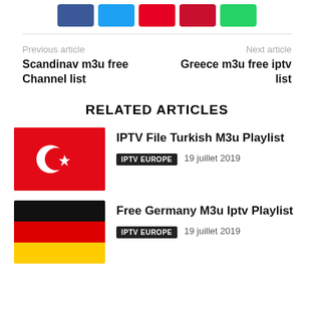[Figure (other): Row of social share buttons: Facebook (blue), Twitter (cyan), Pinterest (red), Pinterest red, WhatsApp (green)]
Previous article
Scandinav m3u free Channel list
Next article
Greece m3u free iptv list
RELATED ARTICLES
[Figure (photo): Turkish flag - red background with white crescent and star]
IPTV File Turkish M3u Playlist
IPTV EUROPE   19 juillet 2019
[Figure (photo): German flag - black, red, and gold horizontal stripes]
Free Germany M3u Iptv Playlist
IPTV EUROPE   19 juillet 2019